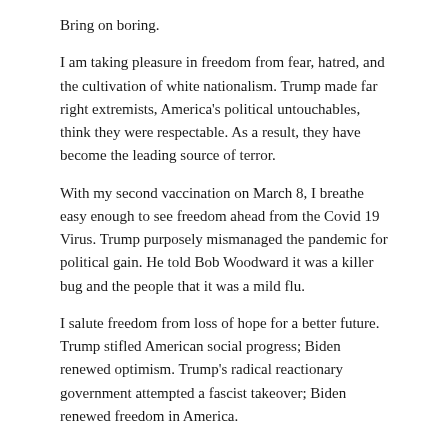Bring on boring.
I am taking pleasure in freedom from fear, hatred, and the cultivation of white nationalism. Trump made far right extremists, America's political untouchables, think they were respectable. As a result, they have become the leading source of terror.
With my second vaccination on March 8, I breathe easy enough to see freedom ahead from the Covid 19 Virus. Trump purposely mismanaged the pandemic for political gain. He told Bob Woodward it was a killer bug and the people that it was a mild flu.
I salute freedom from loss of hope for a better future. Trump stifled American social progress; Biden renewed optimism. Trump's radical reactionary government attempted a fascist takeover; Biden renewed freedom in America.
Trump thought he could wear us down into a dictatorship and underestimated millions of freedom-loving Americans like me. May plagues of prosecutors descend upon Pharoah's house in Mar-a-Lago and lock the loser up.
For me, celebrating 2021 Passover is freedom from the four plagues of 2020.